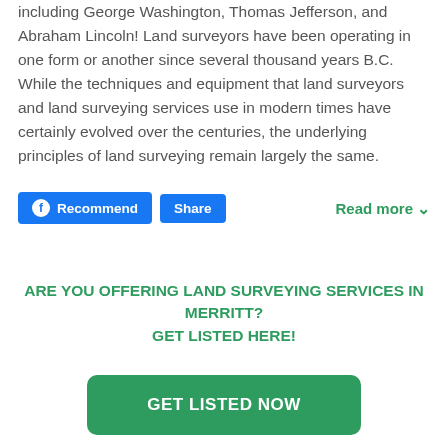including George Washington, Thomas Jefferson, and Abraham Lincoln! Land surveyors have been operating in one form or another since several thousand years B.C. While the techniques and equipment that land surveyors and land surveying services use in modern times have certainly evolved over the centuries, the underlying principles of land surveying remain largely the same.
Recommend  Share  Read more
ARE YOU OFFERING LAND SURVEYING SERVICES IN MERRITT? GET LISTED HERE!
GET LISTED NOW